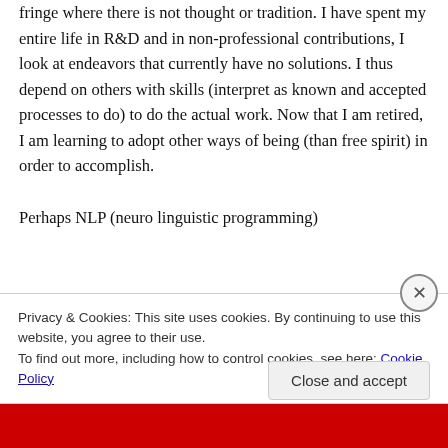fringe where there is not thought or tradition. I have spent my entire life in R&D and in non-professional contributions, I look at endeavors that currently have no solutions. I thus depend on others with skills (interpret as known and accepted processes to do) to do the actual work. Now that I am retired, I am learning to adopt other ways of being (than free spirit) in order to accomplish.
Perhaps NLP (neuro linguistic programming)
Privacy & Cookies: This site uses cookies. By continuing to use this website, you agree to their use.
To find out more, including how to control cookies, see here: Cookie Policy
Close and accept